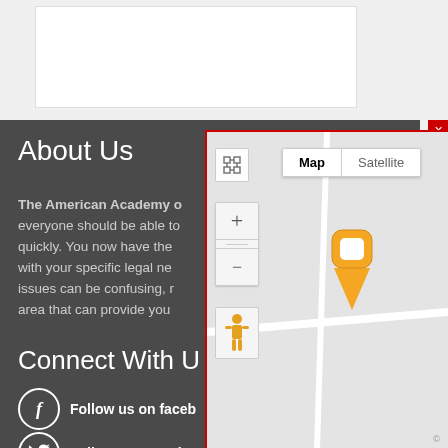[Figure (screenshot): White content box at top of page, partially visible]
About Us
The American Academy o... everyone should be able to... quickly. You now have the... with your specific legal ne... issues can be confusing, r... area that can provide you...
Connect With U...
Follow us on faceb...
Follow us on Twitt...
[Figure (map): Google Maps overlay showing a location pin marker on a light gray map. Map/Satellite toggle buttons visible at top. Zoom in/out controls on left. Street View person icon visible. Orange location pin marker in center of map. Red border around map overlay with close button.]